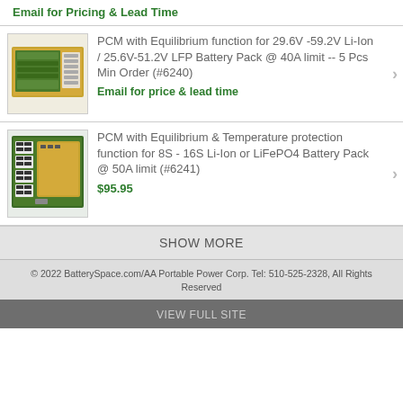Email for Pricing & Lead Time
[Figure (photo): PCM circuit board with equilibrium function for 29.6V-59.2V Li-Ion / 25.6V-51.2V LFP Battery Pack]
PCM with Equilibrium function for 29.6V -59.2V Li-Ion / 25.6V-51.2V LFP Battery Pack @ 40A limit -- 5 Pcs Min Order (#6240)
Email for price & lead time
[Figure (photo): PCM circuit board with equilibrium and temperature protection for 8S-16S Li-Ion or LiFePO4 Battery Pack]
PCM with Equilibrium & Temperature protection function for 8S - 16S Li-Ion or LiFePO4 Battery Pack @ 50A limit (#6241)
$95.95
SHOW MORE
© 2022 BatterySpace.com/AA Portable Power Corp. Tel: 510-525-2328, All Rights Reserved
VIEW FULL SITE